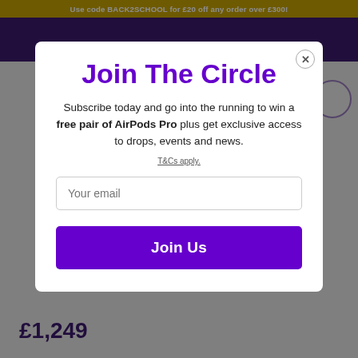Use code BACK2SCHOOL for £20 off any order over £300!
Join The Circle
Subscribe today and go into the running to win a free pair of AirPods Pro plus get exclusive access to drops, events and news.
T&Cs apply.
Your email
Join Us
£1,249